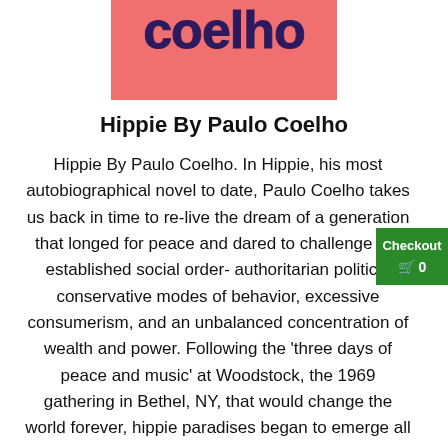[Figure (illustration): Partial book cover image with salmon/coral pink background and large dark purple stylized text reading 'coelho' at the top of the page.]
Hippie By Paulo Coelho
Hippie By Paulo Coelho. In Hippie, his most autobiographical novel to date, Paulo Coelho takes us back in time to re-live the dream of a generation that longed for peace and dared to challenge the established social order- authoritarian politics, conservative modes of behavior, excessive consumerism, and an unbalanced concentration of wealth and power. Following the 'three days of peace and music' at Woodstock, the 1969 gathering in Bethel, NY, that would change the world forever, hippie paradises began to emerge all around the world. In the Dam